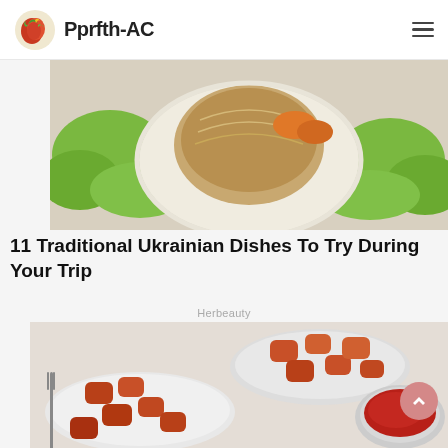Pprfth-AC
[Figure (photo): Food photo showing a meat dish surrounded by green lettuce leaves and orange carrots on a white plate]
11 Traditional Ukrainian Dishes To Try During Your Trip
Herbeauty
[Figure (photo): Food photo showing spiced fried food pieces on two white plates with a bowl of red sauce on a light gray background]